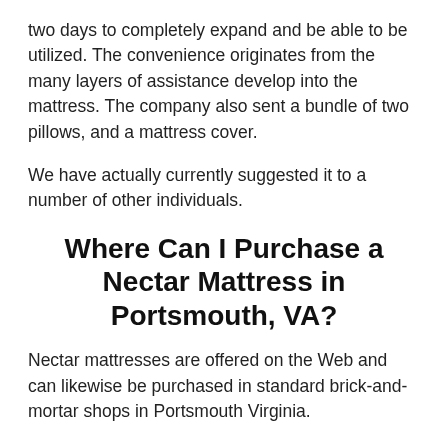two days to completely expand and be able to be utilized. The convenience originates from the many layers of assistance develop into the mattress. The company also sent a bundle of two pillows, and a mattress cover.
We have actually currently suggested it to a number of other individuals.
Where Can I Purchase a Nectar Mattress in Portsmouth, VA?
Nectar mattresses are offered on the Web and can likewise be purchased in standard brick-and-mortar shops in Portsmouth Virginia.